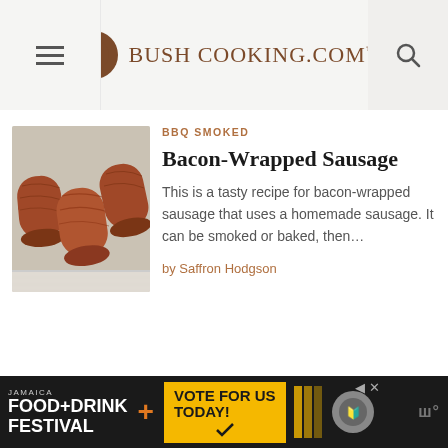Bush Cooking.com
[Figure (photo): Photo of bacon-wrapped sausages on a grill rack]
BBQ SMOKED
Bacon-Wrapped Sausage
This is a tasty recipe for bacon-wrapped sausage that uses a homemade sausage. It can be smoked or baked, then…
by Saffron Hodgson
[Figure (infographic): Advertisement banner: Jamaica Food+Drink Festival – Vote For Us Today]